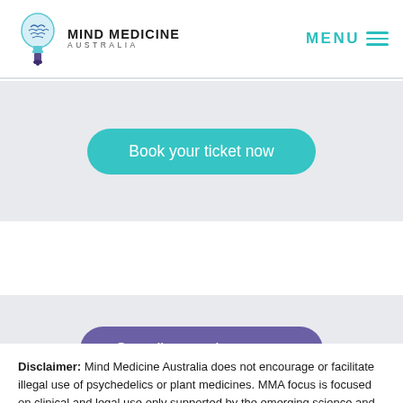[Figure (logo): Mind Medicine Australia logo: brain inside a lightbulb icon with text MIND MEDICINE AUSTRALIA]
MENU
Book your ticket now
See all upcoming events
Disclaimer: Mind Medicine Australia does not encourage or facilitate illegal use of psychedelics or plant medicines. MMA focus is focused on clinical and legal use only supported by the emerging science and legislative processes